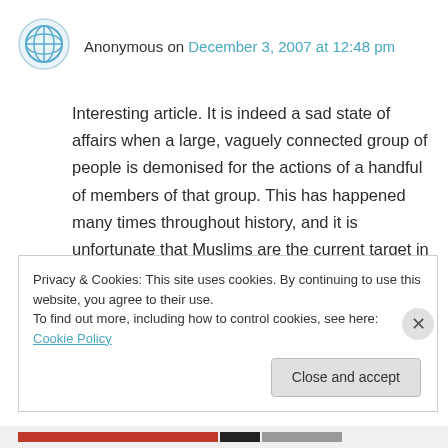Anonymous on December 3, 2007 at 12:48 pm
Interesting article. It is indeed a sad state of affairs when a large, vaguely connected group of people is demonised for the actions of a handful of members of that group. This has happened many times throughout history, and it is unfortunate that Muslims are the current target in the West.
Privacy & Cookies: This site uses cookies. By continuing to use this website, you agree to their use. To find out more, including how to control cookies, see here: Cookie Policy